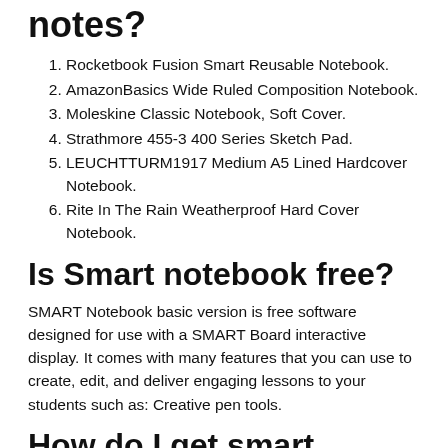notes?
Rocketbook Fusion Smart Reusable Notebook.
AmazonBasics Wide Ruled Composition Notebook.
Moleskine Classic Notebook, Soft Cover.
Strathmore 455-3 400 Series Sketch Pad.
LEUCHTTURM1917 Medium A5 Lined Hardcover Notebook.
Rite In The Rain Weatherproof Hard Cover Notebook.
Is Smart notebook free?
SMART Notebook basic version is free software designed for use with a SMART Board interactive display. It comes with many features that you can use to create, edit, and deliver engaging lessons to your students such as: Creative pen tools.
How do I get smart notebook?